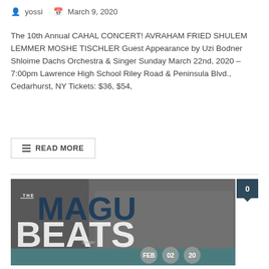yossi   March 9, 2020
The 10th Annual CAHAL CONCERT! AVRAHAM FRIED SHULEM LEMMER MOSHE TISCHLER Guest Appearance by Uzi Bodner Shloime Dachs Orchestra & Singer Sunday March 22nd, 2020 – 7:00pm Lawrence High School Riley Road & Peninsula Blvd., Cedarhurst, NY Tickets: $36, $54,
READ MORE
[Figure (photo): Concert promotional image showing 'THE MAGU BEATS' text overlay with group of young men in white shirts and black ties/pants, date badges showing FEB 02 20 at the bottom]